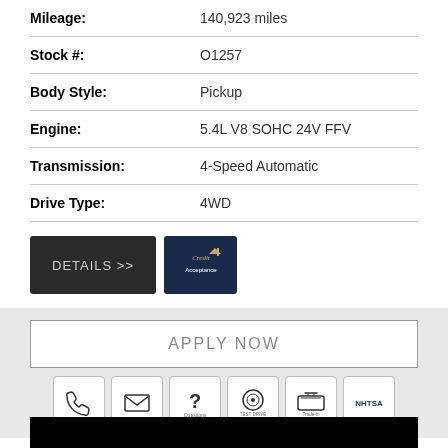| Field | Value |
| --- | --- |
| Mileage: | 140,923 miles |
| Stock #: | O1257 |
| Body Style: | Pickup |
| Engine: | 5.4L V8 SOHC 24V FFV |
| Transmission: | 4-Speed Automatic |
| Drive Type: | 4WD |
[Figure (other): DETAILS >> button (dark gray) and Credit Acceptance logo button (dark navy blue)]
APPLY NOW
[Figure (other): Row of 6 icon buttons: phone, email/envelope, questions (?), test drive, trade-in, NHTSA]
[Figure (photo): Black image area at the bottom of the page]